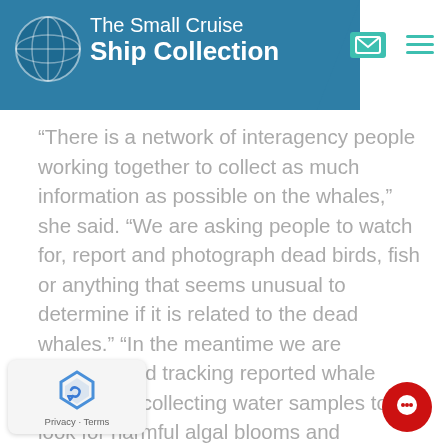The Small Cruise Ship Collection
“There is a network of interagency people working together to collect as much information as possible on the whales,” she said. “We are asking people to watch for, report and photograph dead birds, fish or anything that seems unusual to determine if it is related to the dead whales.” “In the meantime we are mapping and tracking reported whale carcasses, collecting water samples to look for harmful algal blooms and recording changes in